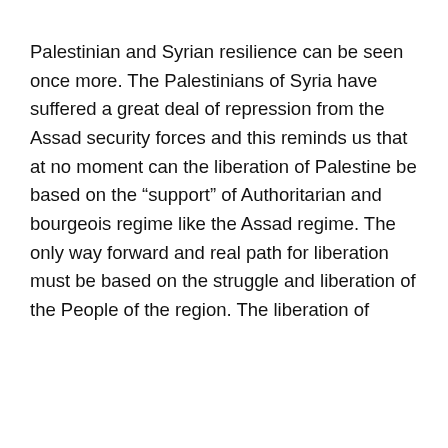Palestinian and Syrian resilience can be seen once more. The Palestinians of Syria have suffered a great deal of repression from the Assad security forces and this reminds us that at no moment can the liberation of Palestine be based on the “support” of Authoritarian and bourgeois regime like the Assad regime. The only way forward and real path for liberation must be based on the struggle and liberation of the People of the region. The liberation of
Privacy & Cookies: This site uses cookies. By continuing to use this website, you agree to their use.
To find out more, including how to control cookies, see here: Cookie Policy